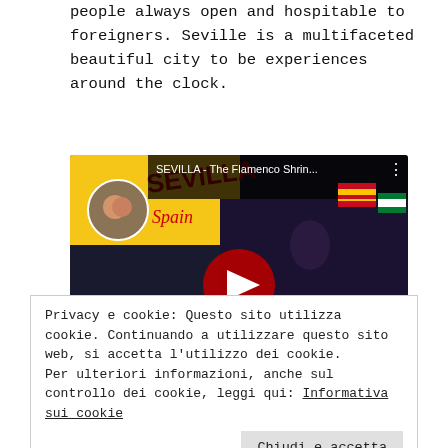people always open and hospitable to foreigners. Seville is a multifaceted beautiful city to be experiences around the clock.
[Figure (screenshot): YouTube video thumbnail showing a flamenco dancer with title 'SEVILLA - The Flamenco Shrin...' and a red play button overlay. A YouTube channel avatar shows a couple, and Spanish/Andalusian flags are visible. A light bulb icon is in the lower left.]
Privacy e cookie: Questo sito utilizza cookie. Continuando a utilizzare questo sito web, si accetta l'utilizzo dei cookie.
Per ulteriori informazioni, anche sul controllo dei cookie, leggi qui: Informativa sui cookie

Chiudi e accetta
water of the river Guadalquivir go through